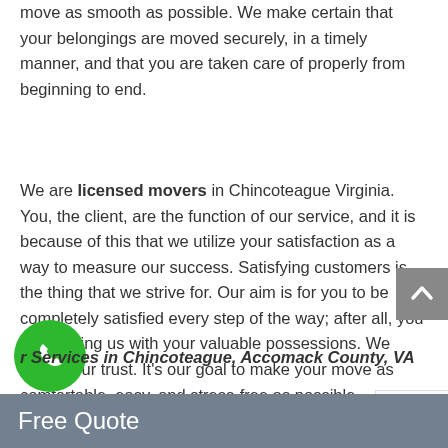move as smooth as possible. We make certain that your belongings are moved securely, in a timely manner, and that you are taken care of properly from beginning to end.
We are licensed movers in Chincoteague Virginia. You, the client, are the function of our service, and it is because of this that we utilize your satisfaction as a way to measure our success. Satisfying customers is the thing that we strive for. Our aim is for you to be completely satisfied every step of the way; after all, you are trusting us with your valuable possessions. We value your trust. It's our goal to make your move as comfortable, easy, and stress-free as possible.
r Services in Chincoteague, Accomack County, VA
Our comprehensive array of services includes lon
Free Quote